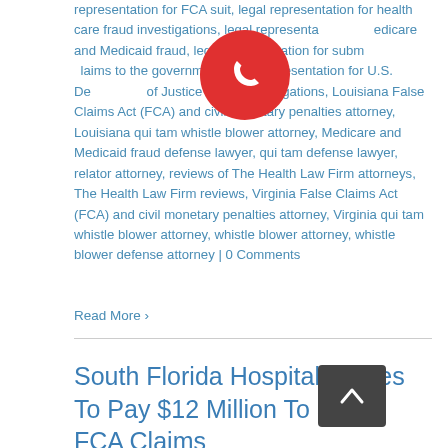representation for FCA suit, legal representation for health care fraud investigations, legal representation for Medicare and Medicaid fraud, legal representation for submitting false claims to the government, legal representation for U.S. Department of Justice (DOJ) investigations, Louisiana False Claims Act (FCA) and civil monetary penalties attorney, Louisiana qui tam whistle blower attorney, Medicare and Medicaid fraud defense lawyer, qui tam defense lawyer, relator attorney, reviews of The Health Law Firm attorneys, The Health Law Firm reviews, Virginia False Claims Act (FCA) and civil monetary penalties attorney, Virginia qui tam whistle blower attorney, whistle blower attorney, whistle blower defense attorney | 0 Comments
Read More ›
South Florida Hospital Agrees To Pay $12 Million To Settle FCA Claims
By George A. Dest III, J.D., M.H.A., LL.M., Board Certified by
[Figure (other): Red circular phone/call button with white phone icon]
[Figure (other): Dark grey scroll-to-top button with upward chevron arrow]